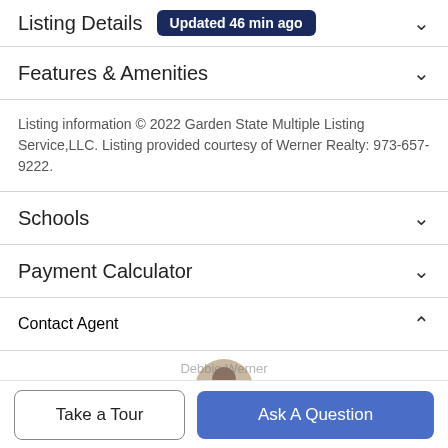Listing Details Updated 46 min ago
Features & Amenities
Listing information © 2022 Garden State Multiple Listing Service,LLC. Listing provided courtesy of Werner Realty: 973-657-9222.
Schools
Payment Calculator
Contact Agent